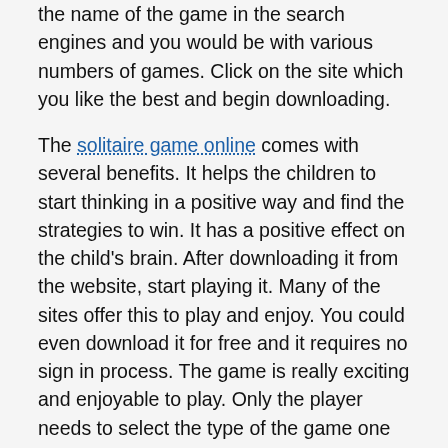the name of the game in the search engines and you would be with various numbers of games. Click on the site which you like the best and begin downloading.
The solitaire game online comes with several benefits. It helps the children to start thinking in a positive way and find the strategies to win. It has a positive effect on the child's brain. After downloading it from the website, start playing it. Many of the sites offer this to play and enjoy. You could even download it for free and it requires no sign in process. The game is really exciting and enjoyable to play. Only the player needs to select the type of the game one needs to play with.
The solitaire is available in different types. These are: FreeCell, Golf, Klondike, Aces Up and Pyramid. As all these are the solitaire but every game is different to play. Some of these games are easy to play while